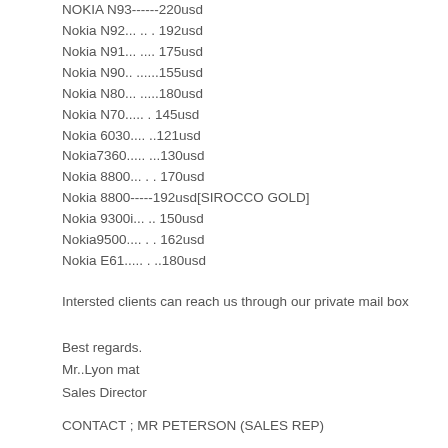Nokia N93------220usd
Nokia N92... .. . 192usd
Nokia N91... .... 175usd
Nokia N90.. ......155usd
Nokia N80... .....180usd
Nokia N70..... . 145usd
Nokia 6030.... ..121usd
Nokia7360..... ...130usd
Nokia 8800... . . 170usd
Nokia 8800-----192usd[SIROCCO GOLD]
Nokia 9300i... .. 150usd
Nokia9500.... . . 162usd
Nokia E61..... . ..180usd
Intersted clients can reach us through our private mail box
Best regards.
Mr..Lyon mat
Sales Director
CONTACT ; MR PETERSON (SALES REP)